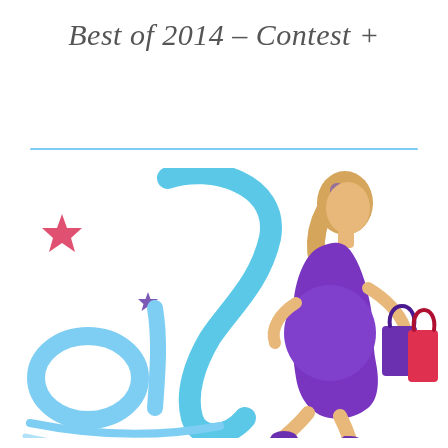Best of 2014 – Contest +
[Figure (logo): Partial logo of a maternity/pregnancy lifestyle brand showing a stylized cursive letter in cyan/blue, a pregnant woman silhouette in purple carrying shopping bags, a red star, a small purple star, and the letters 'ol' in light blue cursive with a curved underline. The image is cropped showing only the right portion of the full logo.]